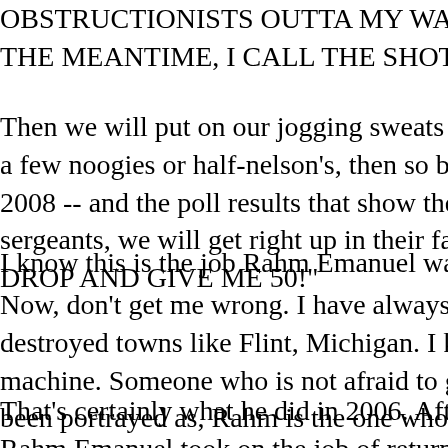OBSTRUCTIONISTS OUTTA MY WAY! IF THE AMER THE MEANTIME, I CALL THE SHOTS ON THEIR BE
Then we will put on our jogging sweats and run up to C a few noogies or half-nelson's, then so be it. In our poc 2008 -- and the poll results that show the majority of A sergeants, we will get right up in their faces and ask th DROP AND GIVE ME 50!"
I know this is the job Rahm Emanuel was supposed to
Now, don't get me wrong. I have always admired Rahm destroyed towns like Flint, Michigan. I know, picky-pick machine. Someone who is not afraid to get his hands e been portrayed as, Rahm is the one who BEAT UP the
That's certainly what he did in 2006. After six long, mis Rahm Emanuel took on the job of returning Congress
But he did it. Big time. He put the fear of God into the p a sense of hope in the Democrats that they could actu the pole position!